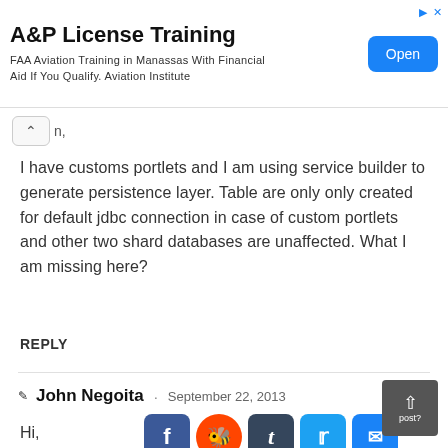[Figure (screenshot): Advertisement banner for A&P License Training. Title: 'A&P License Training'. Subtitle: 'FAA Aviation Training in Manassas With Financial Aid If You Qualify. Aviation Institute'. Blue 'Open' button on right.]
I have customs portlets and I am using service builder to generate persistence layer. Table are only only created for default jdbc connection in case of custom portlets and other two shard databases are unaffected. What I am missing here?
REPLY
John Negoita · September 22, 2013
Hi,
[Figure (screenshot): Social share buttons: Facebook (blue), Reddit (orange), Tumblr (dark blue), Twitter (light blue), Email (blue)]
Is your questio
g in the post?
Please note tha
nnections, so